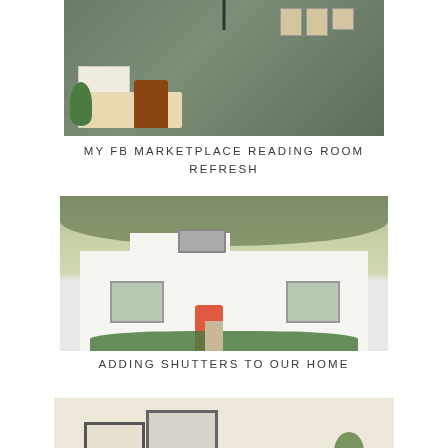[Figure (photo): Interior photo of a reading room/home office with a white desk, brown wooden chair, green painted walls, cabinet, framed wall art, and hanging pendant lamp]
MY FB MARKETPLACE READING ROOM REFRESH
[Figure (photo): Exterior photo of a white house with a coral/red front door, dark grey roof, large trees, green landscaping, and stone path]
ADDING SHUTTERS TO OUR HOME
[Figure (photo): Partial interior photo showing a shelf or console with framed artwork and a plant against a light beige wall]